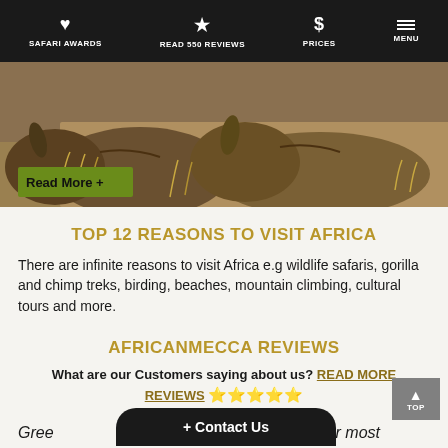SAFARI AWARDS | READ 550 REVIEWS | PRICES | MENU
[Figure (photo): Two rhinoceroses facing each other with dry grass background. A green 'Read More +' button overlaid at bottom left.]
TOP 12 REASONS TO VISIT AFRICA
There are infinite reasons to visit Africa e.g wildlife safaris, gorilla and chimp treks, birding, beaches, mountain climbing, cultural tours and more.
AFRICANMECCA REVIEWS
What are our Customers saying about us? READ MORE REVIEWS ⭐⭐⭐⭐⭐
Gree... our most